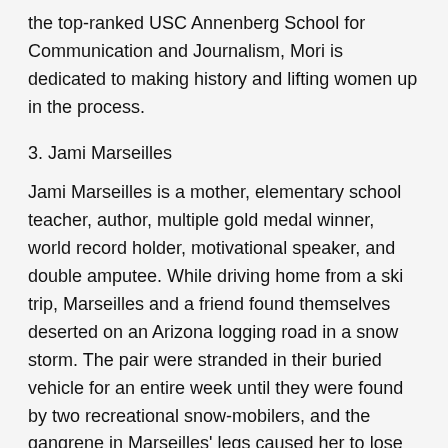the top-ranked USC Annenberg School for Communication and Journalism, Mori is dedicated to making history and lifting women up in the process.
3. Jami Marseilles
Jami Marseilles is a mother, elementary school teacher, author, multiple gold medal winner, world record holder, motivational speaker, and double amputee. While driving home from a ski trip, Marseilles and a friend found themselves deserted on an Arizona logging road in a snow storm. The pair were stranded in their buried vehicle for an entire week until they were found by two recreational snow-mobilers, and the gangrene in Marseilles' legs caused her to lose both of her legs below her knee. However, Marseilles made lemonade from the lemons she had been given, and decided to take up running. Her new passion turned to international competitive success, and now Marseilles